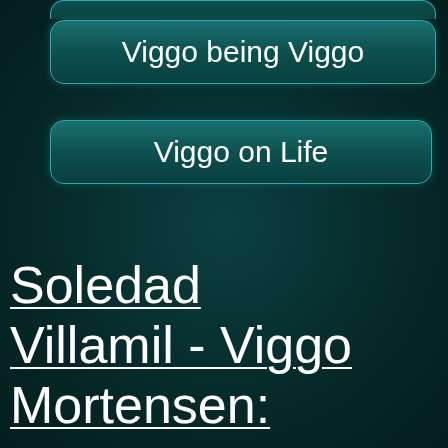Viggo being Viggo
Viggo on Life
Soledad Villamil - Viggo Mortensen: